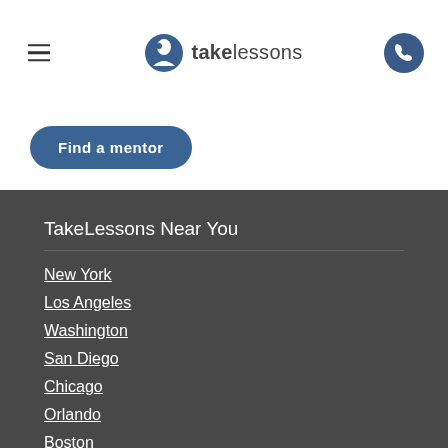takelessons
[Figure (logo): TakeLessons logo with blue teardrop/person icon and text 'takelessons']
Find a mentor (partially visible button)
TakeLessons Near You
New York
Los Angeles
Washington
San Diego
Chicago
Orlando
Boston
Miami
View all cities...